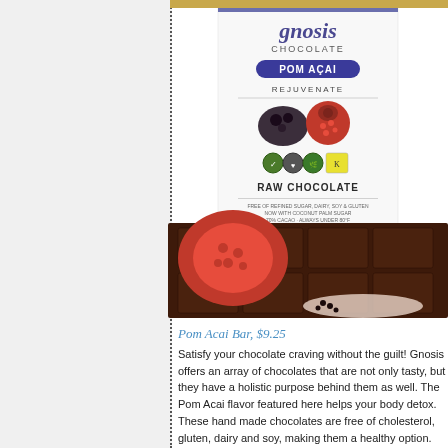[Figure (photo): Gnosis Chocolate Pom Acai bar product photo showing the chocolate bar packaging label with 'gnosis CHOCOLATE POM ACAI REJUVENATE RAW CHOCOLATE' text and certification logos, alongside a dark chocolate bar with pomegranate and acai berries]
Pom Acai Bar, $9.25
Satisfy your chocolate craving without the guilt! Gnosis offers an array of chocolates that are not only tasty, but they have a holistic purpose behind them as well. The Pom Acai flavor featured here helps your body detox. These hand made chocolates are free of cholesterol, gluten, dairy and soy, making them a healthy option.